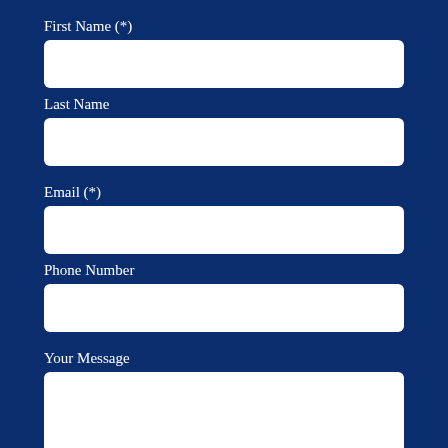First Name (*)
[Figure (other): Empty text input field for First Name]
Last Name
[Figure (other): Empty text input field for Last Name]
Email (*)
[Figure (other): Empty text input field for Email]
Phone Number
[Figure (other): Empty text input field for Phone Number]
Your Message
[Figure (other): Empty large text area for Your Message]